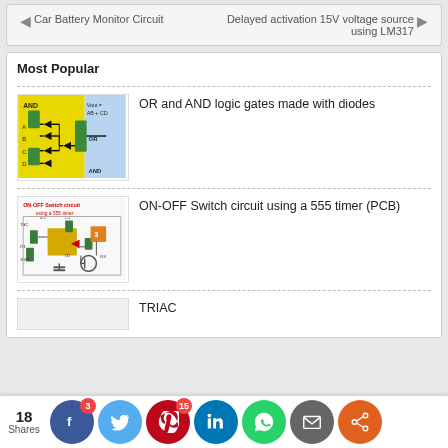Car Battery Monitor Circuit | Delayed activation 15V voltage source using LM317
Most Popular
[Figure (circuit-diagram): OR and AND logic gates circuit diagram made with diodes on yellow/blue background]
OR and AND logic gates made with diodes
[Figure (circuit-diagram): ON-OFF Switch circuit using a 555 timer PCB layout diagram]
ON-OFF Switch circuit using a 555 timer (PCB)
TRIAC
18 Shares  3 Facebook  Twitter  15 Pinterest  LinkedIn  WhatsApp  Email  Share